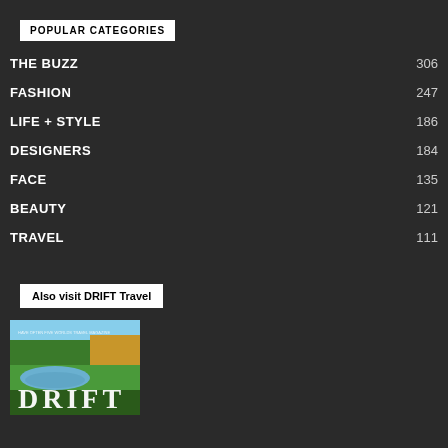POPULAR CATEGORIES
THE BUZZ  306
FASHION  247
LIFE + STYLE  186
DESIGNERS  184
FACE  135
BEAUTY  121
TRAVEL  111
Also visit DRIFT Travel
[Figure (photo): DRIFT magazine cover showing a golf course with lake and trees, large text DRIFT]